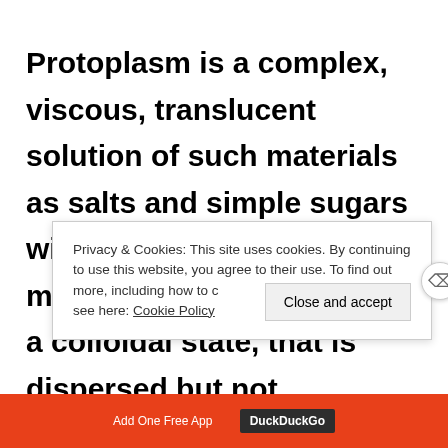Protoplasm is a complex, viscous, translucent solution of such materials as salts and simple sugars with other molecules, mostly proteins and fats, in a colloidal state, that is dispersed but not dissolved in one another. Carbon, Hydrogen, Oxygen, and Nitrogen
Privacy & Cookies: This site uses cookies. By continuing to use this website, you agree to their use. To find out more, including how to control cookies, see here: Cookie Policy
[Figure (other): Advertisement bar at the bottom with orange background, a 'Add One Free App' button, and DuckDuckGo label]